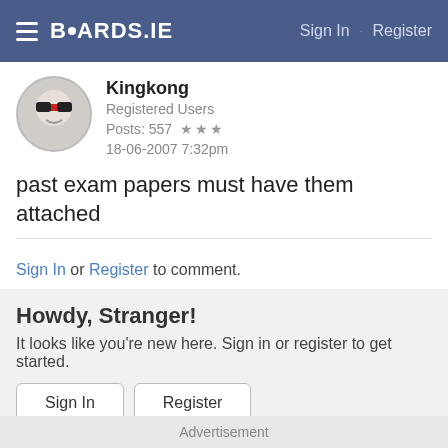BOARDS.IE  Sign In · Register
Kingkong
Registered Users
Posts: 557 ★★★
18-06-2007 7:32pm
past exam papers must have them attached
Sign In or Register to comment.
Howdy, Stranger!
It looks like you're new here. Sign in or register to get started.
Sign In  Register
Quick Links
Categories
Advertisement